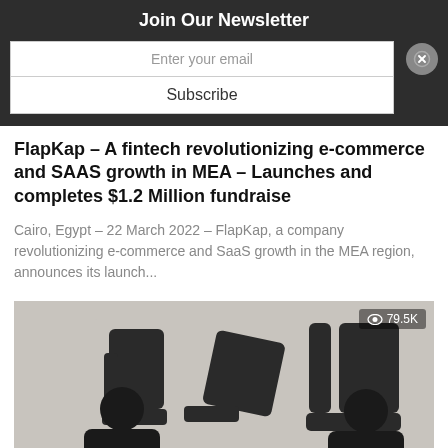Join Our Newsletter
Enter your email
Subscribe
FlapKap – A fintech revolutionizing e-commerce and SAAS growth in MEA – Launches and completes $1.2 Million fundraise
Cairo, Egypt – 22 March 2022 – FlapKap, a company revolutionizing e-commerce and SaaS growth in the MEA region, announces its launch...
[Figure (photo): Two men in black shirts standing in front of large Arabic lettering on a wall. A view counter shows 79.5K in the top right corner.]
INVESTMENTS